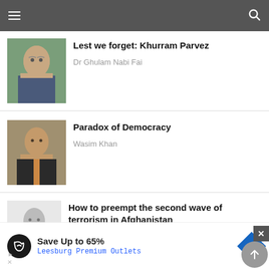Navigation bar with menu and search icons
[Figure (photo): Portrait photo of Dr Ghulam Nabi Fai, an older man with glasses wearing a suit]
Lest we forget: Khurram Parvez
Dr Ghulam Nabi Fai
[Figure (photo): Portrait photo of Wasim Khan, a man in a suit with a tie]
Paradox of Democracy
Wasim Khan
[Figure (photo): Grayscale portrait photo of Ishtiaq Ahmad in a suit]
How to preempt the second wave of terrorism in Afghanistan
Ishtiaq Ahmad
Save Up to 65%
Leesburg Premium Outlets